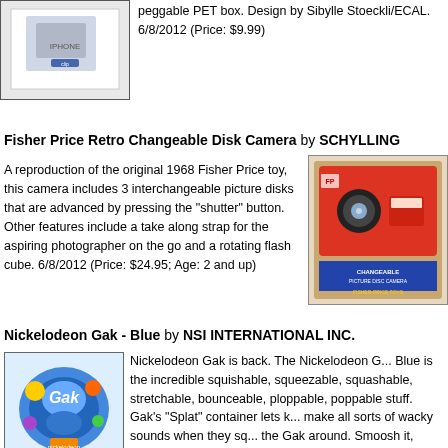[Figure (photo): Product image of a clipboard/phone item partially visible at top]
peggable PET box. Design by Sibylle Stoeckli/ECAL. 6/8/2012 (Price: $9.99)
Fisher Price Retro Changeable Disk Camera by SCHYLLING
A reproduction of the original 1968 Fisher Price toy, this camera includes 3 interchangeable picture disks that are advanced by pressing the "shutter" button. Other features include a take along strap for the aspiring photographer on the go and a rotating flash cube. 6/8/2012 (Price: $24.95; Age: 2 and up)
[Figure (photo): Fisher Price retro changeable disk camera product box image, red camera toy]
Nickelodeon Gak - Blue by NSI INTERNATIONAL INC.
[Figure (photo): Nickelodeon Gak Blue product packaging with blue slime and Nickelodeon branding]
Nickelodeon Gak is back. The Nickelodeon Gak Blue is the incredible squishable, squeezable, squashable, stretchable, bounceable, ploppable, poppable stuff. Gak's "Splat" container lets kids make all sorts of wacky sounds when they squish the Gak around. Smoosh it, Twist it, Bubble it, Mix it. 4/11/2012 (Price: $6.99; Age: 6 to 8) [Add to my Inquiry Basket][?]